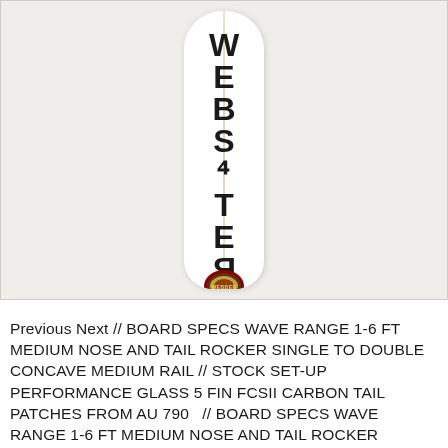[Figure (photo): White surfboard photographed from above showing vertical 'WEBSTER' branding text rotated 90 degrees along the stringer, with a circular brand logo badge near the tail. Board appears white with a natural stringer stripe. Background is light grey/off-white.]
Previous Next // BOARD SPECS WAVE RANGE 1-6 FT MEDIUM NOSE AND TAIL ROCKER SINGLE TO DOUBLE CONCAVE MEDIUM RAIL // STOCK SET-UP PERFORMANCE GLASS 5 FIN FCSII CARBON TAIL PATCHES FROM AU 790 // BOARD SPECS WAVE RANGE 1-6 FT MEDIUM NOSE AND TAIL ROCKER